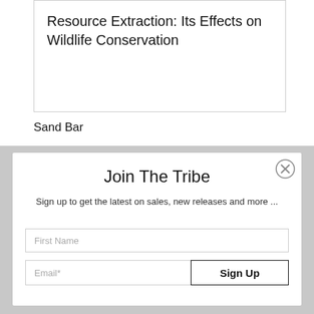Resource Extraction: Its Effects on Wildlife Conservation
Sand Bar
Join The Tribe
Sign up to get the latest on sales, new releases and more ...
First Name
Email*
Sign Up